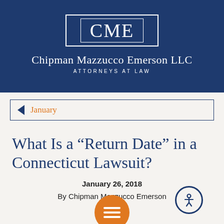[Figure (logo): CME logo box with Chipman Mazzucco Emerson LLC and ATTORNEYS AT LAW on dark navy background]
January
What Is a “Return Date” in a Connecticut Lawsuit?
January 26, 2018
By Chipman Mazzucco Emerson